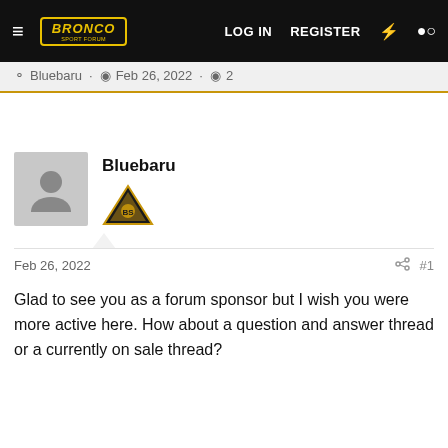BRONCO SPORT FORUM | LOG IN   REGISTER
Bluebaru · Feb 26, 2022 · 2
Bluebaru
Feb 26, 2022   #1
Glad to see you as a forum sponsor but I wish you were more active here. How about a question and answer thread or a currently on sale thread?